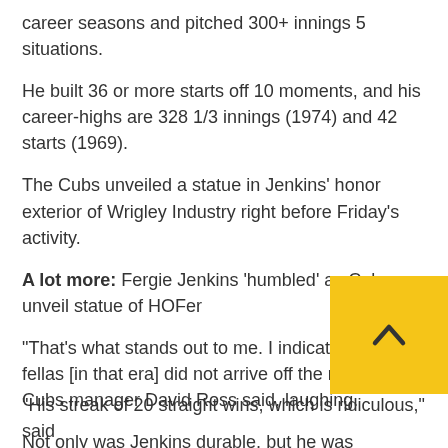career seasons and pitched 300+ innings 5 situations.
He built 36 or more starts off 10 moments, and his career-highs are 328 1/3 innings (1974) and 42 starts (1969).
The Cubs unveiled a statue in Jenkins' honor exterior of Wrigley Industry right before Friday's activity.
A lot more: Fergie Jenkins 'humbled' as Cubs unveil statue of HOFer
“That’s what stands out to me. I indicate, those fellas [in that era] did not arrive off the mound,” Cubs manager David Ross said, laughing.
Not only was Jenkins durable, but he was trustworthy. He received 20-plus online games, a uncommon feat in present-day recreation, in six straight seasons (1967-72).
“His streak of 20 straight wins, which is ridiculous,” said